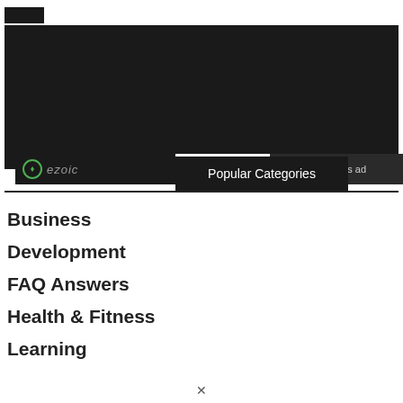[Figure (other): Small black rectangle (logo/button placeholder) in top-left corner]
[Figure (other): Large dark advertisement block with ezoic branding, 'report this ad' text, and 'Popular Categories' overlay label]
Business
Development
FAQ Answers
Health & Fitness
Learning